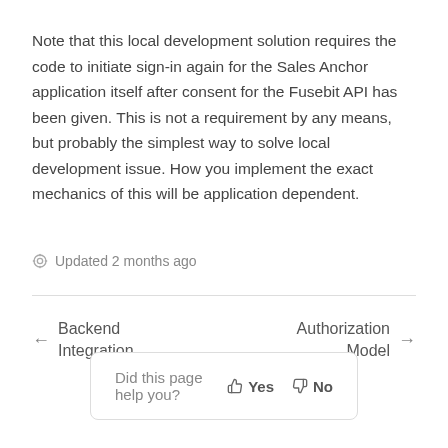Note that this local development solution requires the code to initiate sign-in again for the Sales Anchor application itself after consent for the Fusebit API has been given. This is not a requirement by any means, but probably the simplest way to solve local development issue. How you implement the exact mechanics of this will be application dependent.
Updated 2 months ago
← Backend Integration
Authorization Model →
Did this page help you? 👍 Yes 👎 No